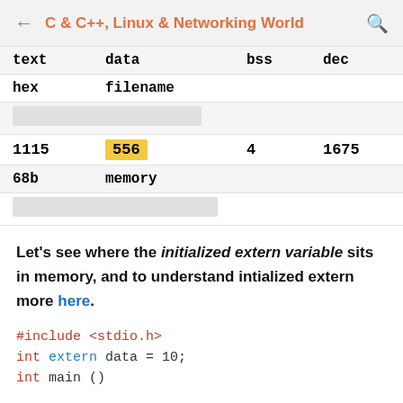C & C++, Linux & Networking World
| text | data | bss | dec |
| --- | --- | --- | --- |
| hex | filename |  |  |
|  |  |  |  |
| 1115 | 556 | 4 | 1675 |
| 68b | memory |  |  |
|  |  |  |  |
Let's see where the initialized extern variable sits in memory, and to understand intialized extern more here.
#include <stdio.h>
int extern data = 10;
int main ()